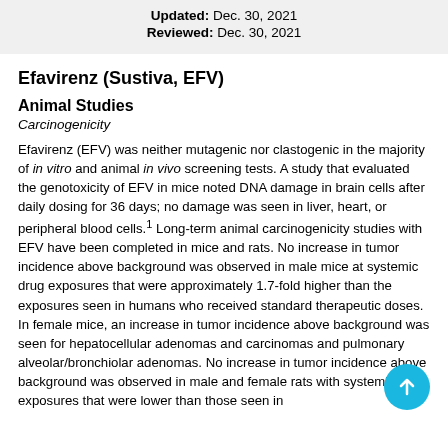Updated: Dec. 30, 2021
Reviewed: Dec. 30, 2021
Efavirenz (Sustiva, EFV)
Animal Studies
Carcinogenicity
Efavirenz (EFV) was neither mutagenic nor clastogenic in the majority of in vitro and animal in vivo screening tests. A study that evaluated the genotoxicity of EFV in mice noted DNA damage in brain cells after daily dosing for 36 days; no damage was seen in liver, heart, or peripheral blood cells.1 Long-term animal carcinogenicity studies with EFV have been completed in mice and rats. No increase in tumor incidence above background was observed in male mice at systemic drug exposures that were approximately 1.7-fold higher than the exposures seen in humans who received standard therapeutic doses. In female mice, an increase in tumor incidence above background was seen for hepatocellular adenomas and carcinomas and pulmonary alveolar/bronchiolar adenomas. No increase in tumor incidence above background was observed in male and female rats with systemic EFV exposures that were lower than those seen in